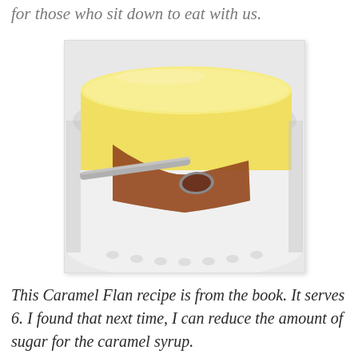for those who sit down to eat with us.
[Figure (photo): Close-up photo of a caramel flan in a white ramekin, with a spoon scooping into it revealing the caramel syrup underneath the custard]
This Caramel Flan recipe is from the book. It serves 6. I found that next time, I can reduce the amount of sugar for the caramel syrup.